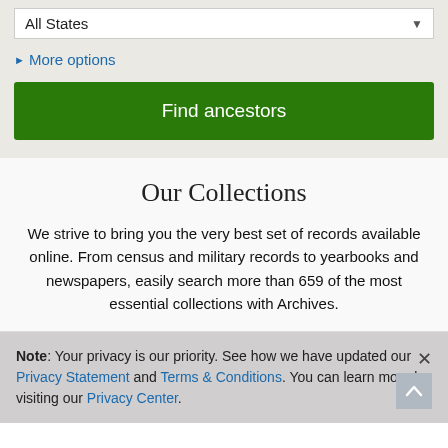All States
► More options
Find ancestors
Our Collections
We strive to bring you the very best set of records available online. From census and military records to yearbooks and newspapers, easily search more than 659 of the most essential collections with Archives.
Note: Your privacy is our priority. See how we have updated our Privacy Statement and Terms & Conditions. You can learn more by visiting our Privacy Center.